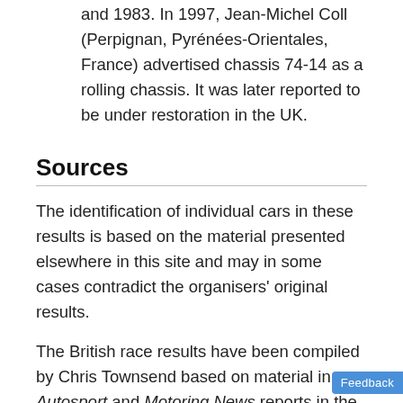and 1983. In 1997, Jean-Michel Coll (Perpignan, Pyrénées-Orientales, France) advertised chassis 74-14 as a rolling chassis. It was later reported to be under restoration in the UK.
Sources
The identification of individual cars in these results is based on the material presented elsewhere in this site and may in some cases contradict the organisers' original results.
The British race results have been compiled by Chris Townsend based on material in Autosport and Motoring News reports in the UK plus the information supplied by a wide range of contributors.
All comments, clarifications, corrections and additions are most welcome. Please email Allen